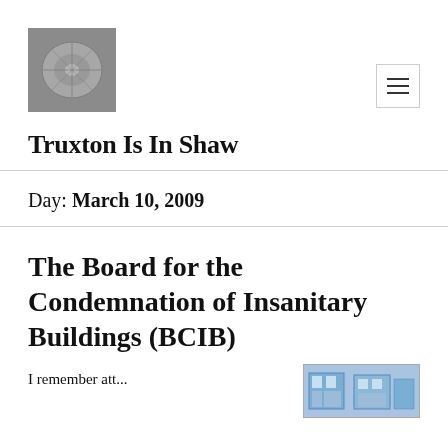[Figure (photo): Black and white aerial or bird's eye view photo of a circular plaza or roundabout with landscaping, used as site logo]
Truxton Is In Shaw
Day: March 10, 2009
The Board for the Condemnation of Insanitary Buildings (BCIB)
[Figure (photo): Small thumbnail image at bottom right, appears to show a building or architectural photo in blue tones]